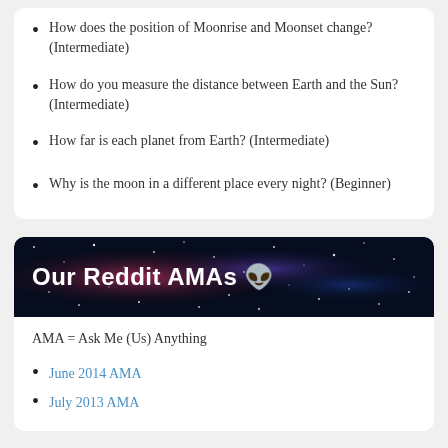How does the position of Moonrise and Moonset change? (Intermediate)
How do you measure the distance between Earth and the Sun? (Intermediate)
How far is each planet from Earth? (Intermediate)
Why is the moon in a different place every night? (Beginner)
[Figure (illustration): Banner with space/galaxy background showing text 'Our Reddit AMAs' with Reddit alien mascot icon]
AMA = Ask Me (Us) Anything
June 2014 AMA
July 2013 AMA